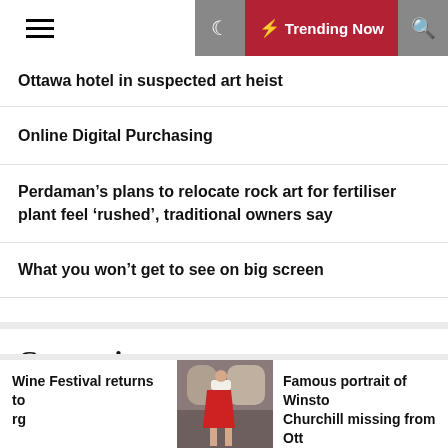Trending Now
Ottawa hotel in suspected art heist
Online Digital Purchasing
Perdaman’s plans to relocate rock art for fertiliser plant feel ‘rushed’, traditional owners say
What you won’t get to see on big screen
Categories
Art News
Wine Festival returns to rg
[Figure (photo): Photo showing a person in a red skirt in an indoor setting]
Famous portrait of Winston Churchill missing from Ott